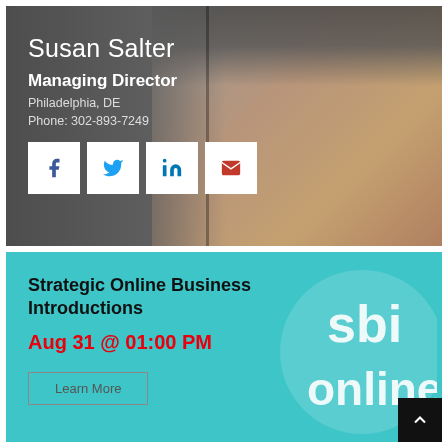[Figure (photo): Profile card for Susan Salter with photo background showing a woman with gray and dark hair, overlaid with text and social media icons on a gray/dark background]
Susan Salter
Managing Director
Philadelphia, DE
Phone: 302-893-7249
[Figure (infographic): SBI Online event card on teal background with Strategic Online Business Introductions text, date Aug 31 @ 01:00 PM, Learn More button, and sbi online logo]
Strategic Online Business Introductions
Aug 31 @ 01:00 PM
Learn More